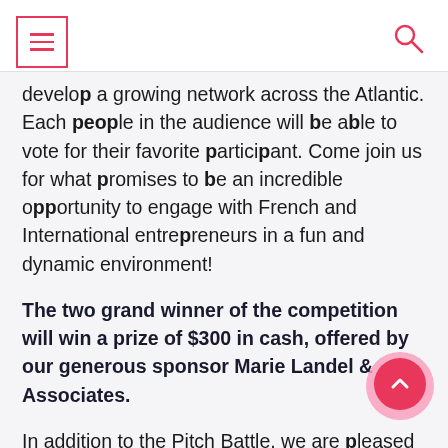[menu icon] [search icon]
develop a growing network across the Atlantic. Each people in the audience will be able to vote for their favorite participant. Come join us for what promises to be an incredible opportunity to engage with French and International entrepreneurs in a fun and dynamic environment!
The two grand winner of the competition will win a prize of $300 in cash, offered by our generous sponsor Marie Landel & Associates.
In addition to the Pitch Battle, we are pleased to announce the participation of scouts from Analog